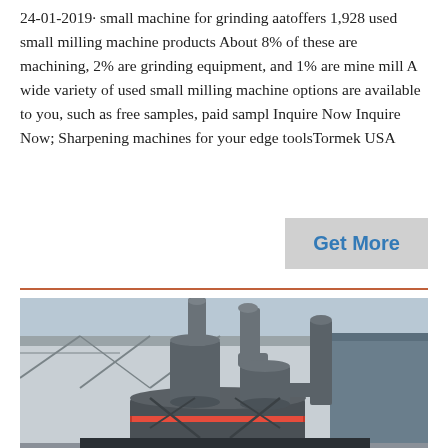24-01-2019· small machine for grinding aatoffers 1,928 used small milling machine products About 8% of these are machining, 2% are grinding equipment, and 1% are mine mill A wide variety of used small milling machine options are available to you, such as free samples, paid sampl Inquire Now Inquire Now; Sharpening machines for your edge toolsTormek USA
[Figure (other): Button labeled 'Get More' with grey background and blue text]
[Figure (photo): Photograph of industrial grinding mill machinery with large cylindrical tanks and exhaust pipes, situated outdoors next to a warehouse building]